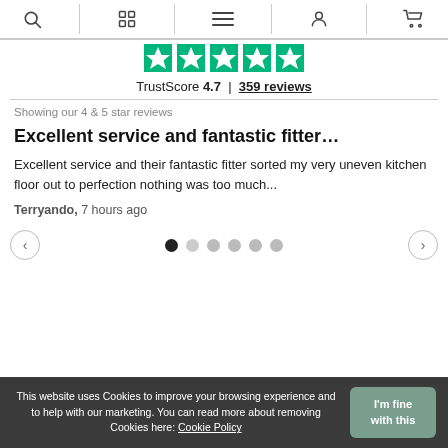Navigation bar with search, grid, menu, user, and cart icons
[Figure (other): Trustpilot 5 green stars rating row]
TrustScore 4.7 | 359 reviews
Showing our 4 & 5 star reviews
Excellent service and fantastic fitter…
Excellent service and their fantastic fitter sorted my very uneven kitchen floor out to perfection nothing was too much...
Terryando, 7 hours ago
[Figure (other): Carousel navigation with left arrow, 6 dots (first filled/active), right arrow]
This website uses Cookies to improve your browsing experience and to help with our marketing. You can read more about removing Cookies here: Cookie Policy